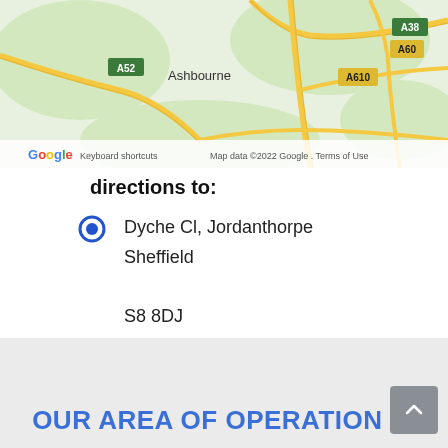[Figure (map): Google Maps screenshot showing road map of area around Ashbourne, UK, with roads A52, A38, A610, A60 visible. Shows Google logo, keyboard shortcuts text, and map data copyright notice: 'Map data ©2022 Google . Terms of Use']
directions to:
Dyche Cl, Jordanthorpe
Sheffield
S8 8DJ
Get directions
OUR AREA OF OPERATION IS